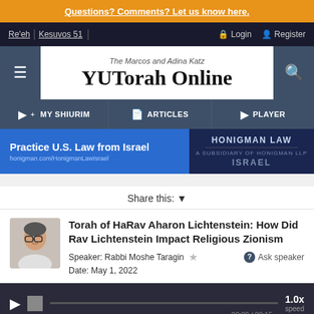Questions? Comments? Let us know here.
Re'eh | Kesuvos 51 | Login | Register
[Figure (logo): YUTorah Online logo with The Marcos and Adina Katz subtitle, flanked by menu and search buttons]
MY SHIURIM | ARTICLES | PLAYER
[Figure (screenshot): Ad banner: Practice U.S. Law from Israel - honigman.com/HonigmanLawIsrael - HONIGMAN LAW ISRAEL]
Share this:
Torah of HaRav Aharon Lichtenstein: How Did Rav Lichtenstein Impact Religious Zionism
Speaker: Rabbi Moshe Taragin
Ask speaker
Date: May 1, 2022
[Figure (other): Audio player showing 00:00 / 00:15 at 1.0x speed]